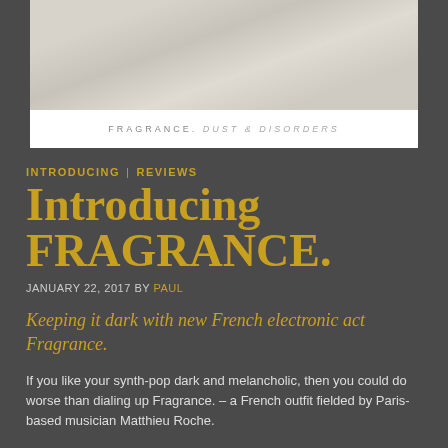[Figure (photo): Top portion of a webpage header image showing light diagonal streaks on a pale beige/cream background, with the site name 'FRAGRANCE. DUST & DISORDERS' in small spaced caps below the image on a white bar.]
INTRODUCING | REVIEWS
Introducing FRAGRANCE.
JANUARY 22, 2017 BY PAUL
Keeping it dark with new French electronic act Fragrance.
If you like your synth-pop dark and melancholic, then you could do worse than dialing up Fragrance. – a French outfit fielded by Paris-based musician Matthieu Roche.
There's certainly an element of the sleazy synths of TR/ST working as an influence here with a similarly